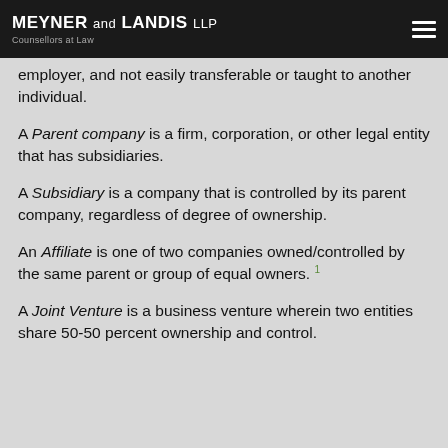MEYNER AND LANDIS LLP — Counsellors at Law
employer, and not easily transferable or taught to another individual.
A Parent company is a firm, corporation, or other legal entity that has subsidiaries.
A Subsidiary is a company that is controlled by its parent company, regardless of degree of ownership.
An Affiliate is one of two companies owned/controlled by the same parent or group of equal owners. 1
A Joint Venture is a business venture wherein two entities share 50-50 percent ownership and control.